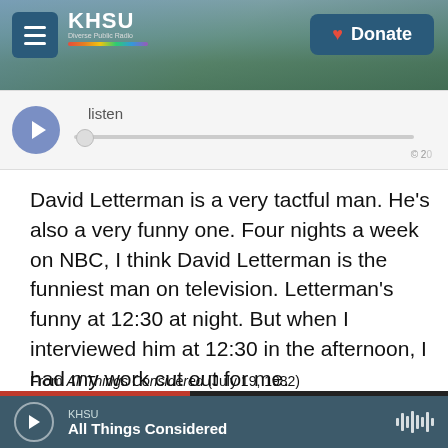[Figure (screenshot): KHSU radio station website header with beach/coastal background photo, hamburger menu button, KHSU logo with rainbow bar, and blue Donate button]
[Figure (screenshot): Audio player widget with purple play button, 'listen' label, and horizontal progress bar with scrubber thumb]
David Letterman is a very tactful man. He's also a very funny one. Four nights a week on NBC, I think David Letterman is the funniest man on television. Letterman's funny at 12:30 at night. But when I interviewed him at 12:30 in the afternoon, I had my work cut out for me.
From All Things Considered (July 19, 1982)
KHSU — All Things Considered